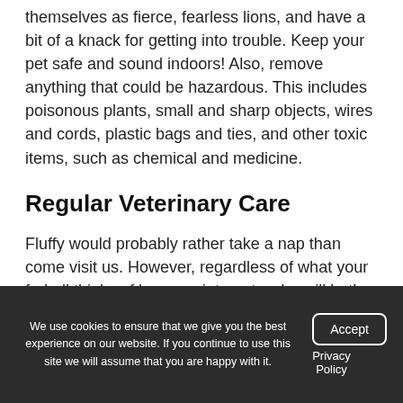themselves as fierce, fearless lions, and have a bit of a knack for getting into trouble. Keep your pet safe and sound indoors! Also, remove anything that could be hazardous. This includes poisonous plants, small and sharp objects, wires and cords, plastic bags and ties, and other toxic items, such as chemical and medicine.
Regular Veterinary Care
Fluffy would probably rather take a nap than come visit us. However, regardless of what your furball thinks of her appointments, she will both look and feel better with proper veterinary care. We strongly recommend that kitties be fixed and
We use cookies to ensure that we give you the best experience on our website. If you continue to use this site we will assume that you are happy with it.